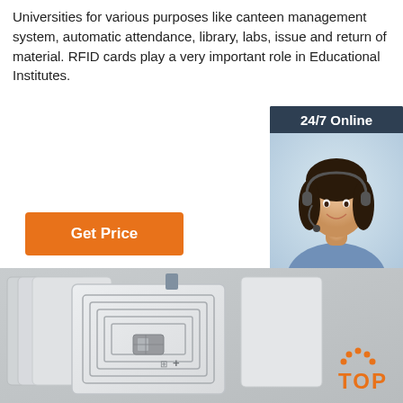Universities for various purposes like canteen management system, automatic attendance, library, labs, issue and return of material. RFID cards play a very important role in Educational Institutes.
[Figure (other): Orange 'Get Price' button]
[Figure (other): 24/7 Online customer service sidebar with a female agent wearing a headset, 'Click here for free chat!' text, and an orange QUOTATION button]
[Figure (photo): Product photo showing RFID cards/tags — white plastic cards with coil antennas visible, arranged overlapping, with an orange TOP badge in the lower right corner]